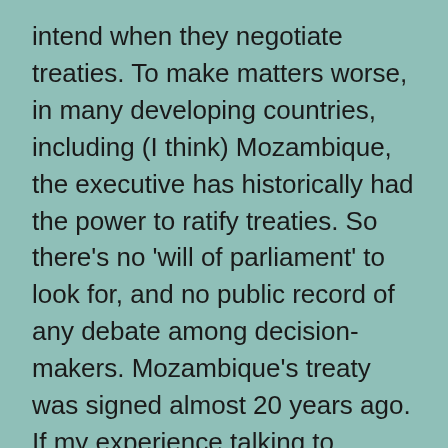intend when they negotiate treaties. To make matters worse, in many developing countries, including (I think) Mozambique, the executive has historically had the power to ratify treaties. So there's no 'will of parliament' to look for, and no public record of any debate among decision-makers. Mozambique's treaty was signed almost 20 years ago. If my experience talking to officials in other countries is anything to go by, it will be hard to find anyone who can remember how and why this treaty came about. The tax landscape has changed in the meantime, as has the